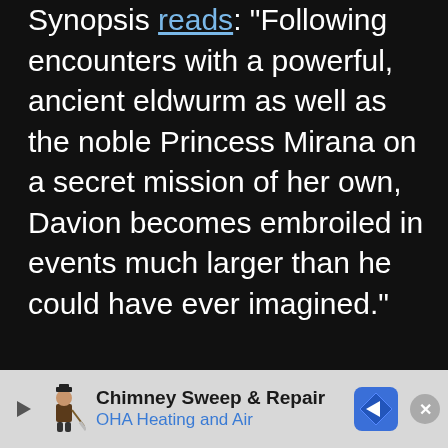Synopsis reads: "Following encounters with a powerful, ancient eldwurm as well as the noble Princess Mirana on a secret mission of her own, Davion becomes embroiled in events much larger than he could have ever imagined."
[Figure (screenshot): Advertisement banner for Chimney Sweep & Repair by OHA Heating and Air, with a play button, chimney sweep icon, navigation/map logo, and close button.]